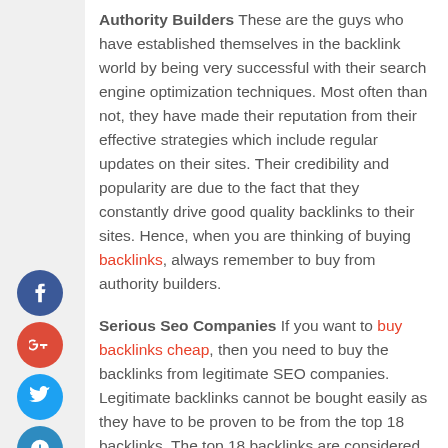Authority Builders These are the guys who have established themselves in the backlink world by being very successful with their search engine optimization techniques. Most often than not, they have made their reputation from their effective strategies which include regular updates on their sites. Their credibility and popularity are due to the fact that they constantly drive good quality backlinks to their sites. Hence, when you are thinking of buying backlinks, always remember to buy from authority builders.
Serious Seo Companies If you want to buy backlinks cheap, then you need to buy the backlinks from legitimate SEO companies. Legitimate backlinks cannot be bought easily as they have to be proven to be from the top 18 backlinks. The top 18 backlinks are considered genuine backlinks by search engines and all the other site owners as well. Therefore, if you have genuine backlinks from top SEO companies, then you can definitely try your luck in getting a good position in